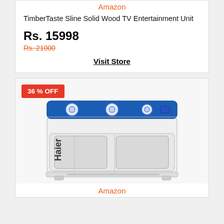Amazon
TimberTaste Sline Solid Wood TV Entertainment Unit
Rs. 15998
Rs. 21000
Visit Store
36 % OFF
[Figure (photo): Haier twin-tub washing machine, white body with blue top panel and control dials]
Amazon